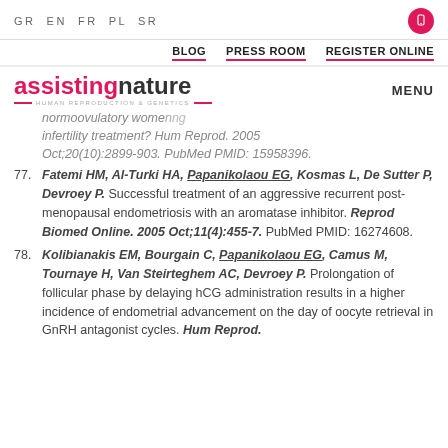GR EN FR PL SR
BLOG  PRESS ROOM  REGISTER ONLINE
[Figure (logo): Assisting Nature logo — Human Reproduction & Genetics, with MENU label]
normoovulatory women ... infertility treatment? Hum Reprod. 2005 Oct;20(10):2899-903. PubMed PMID: 15958396.
77. Fatemi HM, Al-Turki HA, Papanikolaou EG, Kosmas L, De Sutter P, Devroey P. Successful treatment of an aggressive recurrent post-menopausal endometriosis with an aromatase inhibitor. Reprod Biomed Online. 2005 Oct;11(4):455-7. PubMed PMID: 16274608.
78. Kolibianakis EM, Bourgain C, Papanikolaou EG, Camus M, Tournaye H, Van Steirteghem AC, Devroey P. Prolongation of follicular phase by delaying hCG administration results in a higher incidence of endometrial advancement on the day of oocyte retrieval in GnRH antagonist cycles. Hum Reprod.